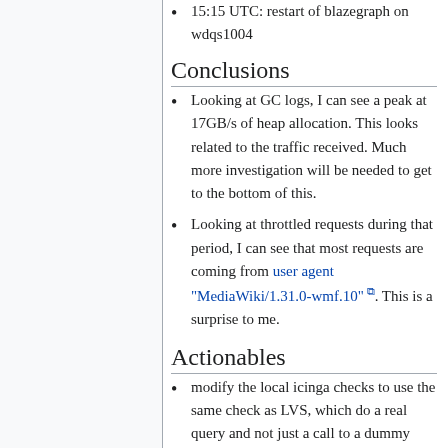15:15 UTC: restart of blazegraph on wdqs1004
Conclusions
Looking at GC logs, I can see a peak at 17GB/s of heap allocation. This looks related to the traffic received. Much more investigation will be needed to get to the bottom of this.
Looking at throttled requests during that period, I can see that most requests are coming from user agent "MediaWiki/1.31.0-wmf.10". This is a surprise to me.
Actionables
modify the local icinga checks to use the same check as LVS, which do a real query and not just a call to a dummy page phab:T181989